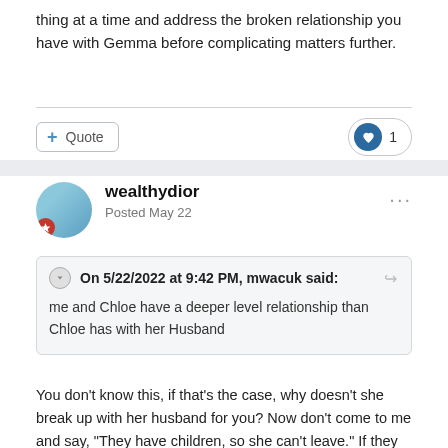thing at a time and address the broken relationship you have with Gemma before complicating matters further.
wealthydior
Posted May 22
On 5/22/2022 at 9:42 PM, mwacuk said: me and Chloe have a deeper level relationship than Chloe has with her Husband
You don't know this, if that's the case, why doesn't she break up with her husband for you? Now don't come to me and say, "They have children, so she can't leave." If they were such an unhappy family, she would surely prefer to raise their children in a happy